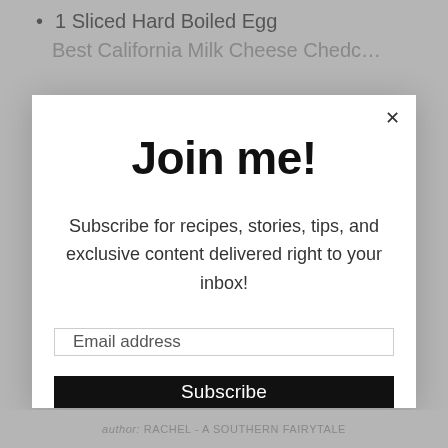1 Sliced Hard Boiled Egg
Best California Milk Cheese Cheddar (partially visible)
Join me!
Subscribe for recipes, stories, tips, and exclusive content delivered right to your inbox!
Email address
Subscribe
author: RACHEL - A SOUTHERN FAIRYTALE